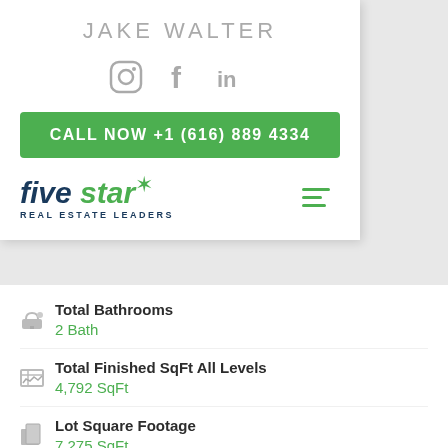JAKE WALTER
[Figure (logo): Social media icons: Instagram, Facebook, LinkedIn]
CALL NOW +1 (616) 889 4334
[Figure (logo): Five Star Real Estate Leaders logo with hamburger menu icon]
Total Bathrooms: 2 Bath
Total Finished SqFt All Levels: 4,792 SqFt
Lot Square Footage: 7,275 SqFt
Year Built